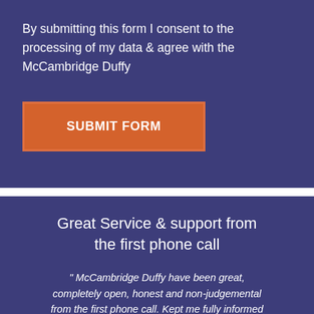By submitting this form I consent to the processing of my data & agree with the McCambridge Duffy
SUBMIT FORM
Great Service & support from the first phone call
" McCambridge Duffy have been great, completely open, honest and non-judgemental from the first phone call. Kept me fully informed